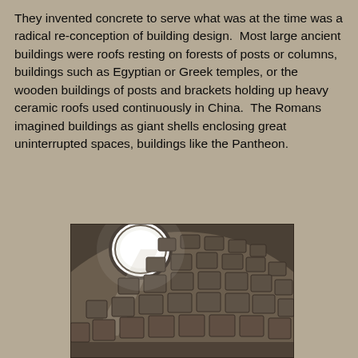They invented concrete to serve what was at the time was a radical re-conception of building design.  Most large ancient buildings were roofs resting on forests of posts or columns, buildings such as Egyptian or Greek temples, or the wooden buildings of posts and brackets holding up heavy ceramic roofs used continuously in China.  The Romans imagined buildings as giant shells enclosing great uninterrupted spaces, buildings like the Pantheon.
[Figure (photo): Interior photograph of the Pantheon in Rome, showing the coffered concrete dome with the oculus (circular opening) at the top letting in bright light, with the curved walls and recessed panels visible.]